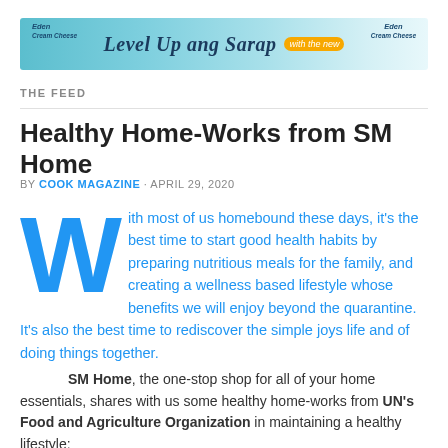[Figure (photo): Eden Cream Cheese advertisement banner: light blue/teal background with text 'Level Up ang Sarap' in decorative script, Eden Cream Cheese logos on left and right, and a cheesecake image]
THE FEED
Healthy Home-Works from SM Home
BY COOK MAGAZINE · APRIL 29, 2020
With most of us homebound these days, it's the best time to start good health habits by preparing nutritious meals for the family, and creating a wellness based lifestyle whose benefits we will enjoy beyond the quarantine.  It's also the best time to rediscover the simple joys life and of doing things together.
SM Home, the one-stop shop for all of your home essentials, shares with us some healthy home-works from UN's Food and Agriculture Organization in maintaining a healthy lifestyle: